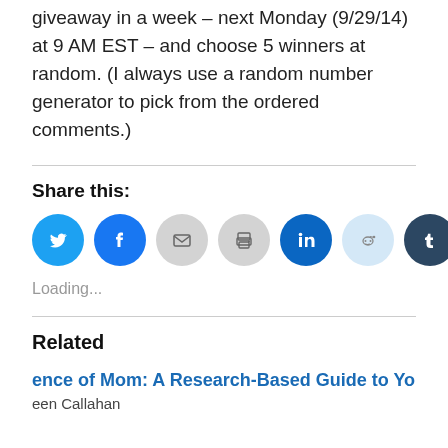giveaway in a week – next Monday (9/29/14) at 9 AM EST – and choose 5 winners at random. (I always use a random number generator to pick from the ordered comments.)
Share this:
[Figure (infographic): Row of social media sharing icon buttons: Twitter (blue), Facebook (blue), Email (gray), Print (gray), LinkedIn (blue), Reddit (light blue), Tumblr (dark navy), Pinterest (red), Pocket (red)]
Loading...
Related
ence of Mom: A Research-Based Guide to You
een Callahan